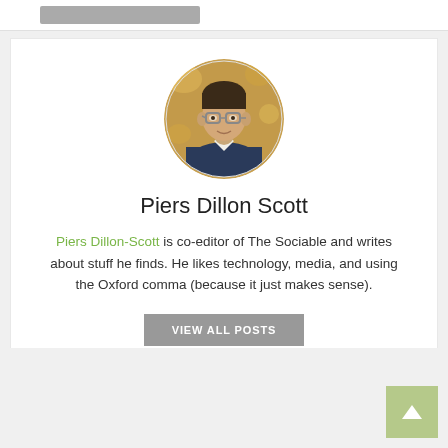[Figure (photo): Circular avatar photo of Piers Dillon Scott, a man with glasses]
Piers Dillon Scott
Piers Dillon-Scott is co-editor of The Sociable and writes about stuff he finds. He likes technology, media, and using the Oxford comma (because it just makes sense).
VIEW ALL POSTS
[Figure (other): Social media icons: Facebook and Twitter]